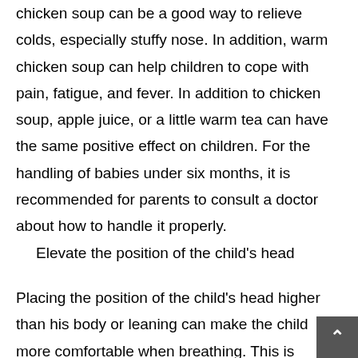chicken soup can be a good way to relieve colds, especially stuffy nose. In addition, warm chicken soup can help children to cope with pain, fatigue, and fever. In addition to chicken soup, apple juice, or a little warm tea can have the same positive effect on children. For the handling of babies under six months, it is recommended for parents to consult a doctor about how to handle it properly.
Elevate the position of the child's head
Placing the position of the child's head higher than his body or leaning can make the child more comfortable when breathing. This is especially helpful for children who